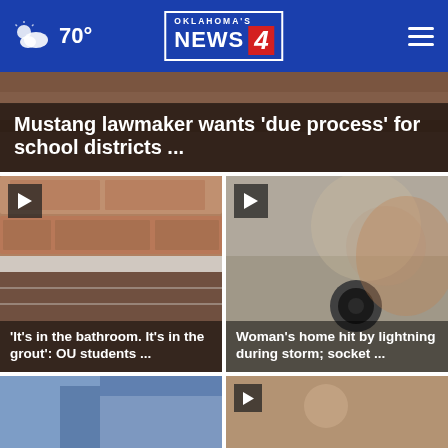Oklahoma's News 4 — 70°
Mustang lawmaker wants 'due process' for school districts ...
[Figure (photo): Close-up photo of bathroom tile grout with play button overlay]
'It's in the bathroom. It's in the grout': OU students ...
[Figure (photo): Close-up photo of a wall socket or drain with storm damage, with play button overlay]
Woman's home hit by lightning during storm; socket ...
[Figure (photo): Partial view of news studio or outdoor scene (bottom left)]
[Figure (photo): Partial view of person with play button overlay (bottom right)]